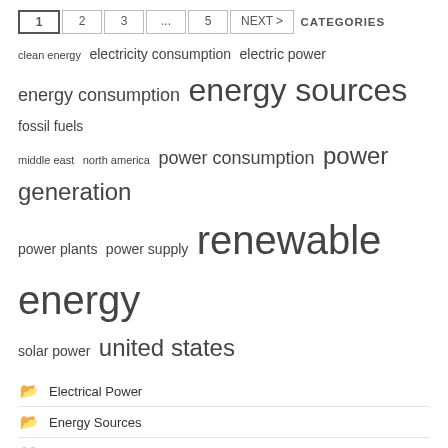1 2 3 ... 5 NEXT >
CATEGORIES
clean energy  electricity consumption  electric power  energy consumption  energy sources  fossil fuels  middle east  north america  power consumption  power generation  power plants  power supply  renewable energy  solar power  united states
Electrical Power
Energy Sources
Energy Tower
Power Usage
RECENT POSTS
Recent Posts